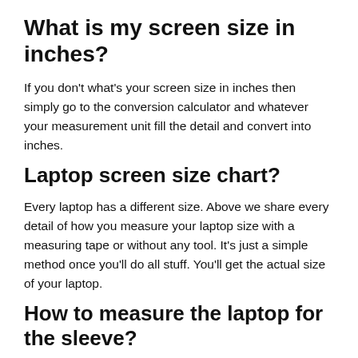What is my screen size in inches?
If you don't what's your screen size in inches then simply go to the conversion calculator and whatever your measurement unit fill the detail and convert into inches.
Laptop screen size chart?
Every laptop has a different size. Above we share every detail of how you measure your laptop size with a measuring tape or without any tool. It's just a simple method once you'll do all stuff. You'll get the actual size of your laptop.
How to measure the laptop for the sleeve?